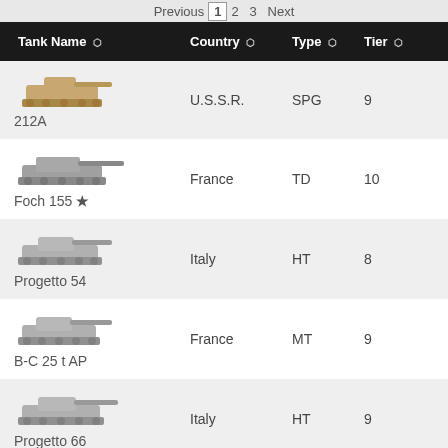Previous 1 2 3 Next
| Tank Name | Country | Type | Tier | Battles |
| --- | --- | --- | --- | --- |
| 212A | U.S.S.R. | SPG | 9 | 14 |
| Foch 155 ★ | France | TD | 10 | 6 |
| Progetto 54 | Italy | HT | 8 | 4 |
| B-C 25 t AP | France | MT | 9 | 4 |
| Progetto 66 | Italy | HT | 9 | 3 |
| S. Conqueror | UK | HT | 10 | 3 |